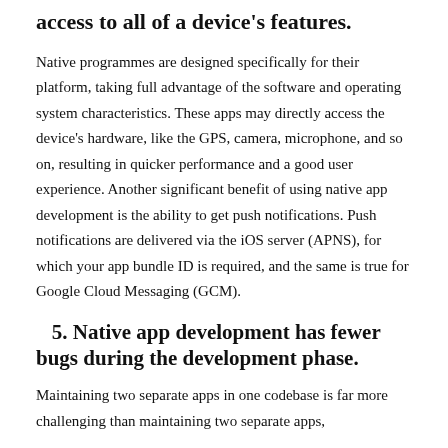access to all of a device's features.
Native programmes are designed specifically for their platform, taking full advantage of the software and operating system characteristics. These apps may directly access the device's hardware, like the GPS, camera, microphone, and so on, resulting in quicker performance and a good user experience. Another significant benefit of using native app development is the ability to get push notifications. Push notifications are delivered via the iOS server (APNS), for which your app bundle ID is required, and the same is true for Google Cloud Messaging (GCM).
5. Native app development has fewer bugs during the development phase.
Maintaining two separate apps in one codebase is far more challenging than maintaining two separate apps,